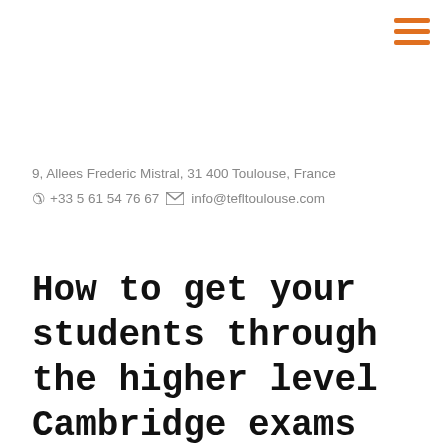[Figure (other): Orange hamburger menu icon in top right corner]
9, Allees Frederic Mistral, 31400 Toulouse, France
✆ +33 5 61 54 76 67 ✉ info@tefltoulouse.com
How to get your students through the higher level Cambridge exams